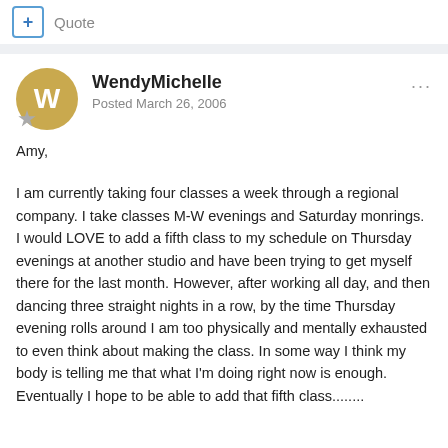+ Quote
WendyMichelle
Posted March 26, 2006
Amy,
I am currently taking four classes a week through a regional company. I take classes M-W evenings and Saturday monrings. I would LOVE to add a fifth class to my schedule on Thursday evenings at another studio and have been trying to get myself there for the last month. However, after working all day, and then dancing three straight nights in a row, by the time Thursday evening rolls around I am too physically and mentally exhausted to even think about making the class. In some way I think my body is telling me that what I'm doing right now is enough. Eventually I hope to be able to add that fifth class........